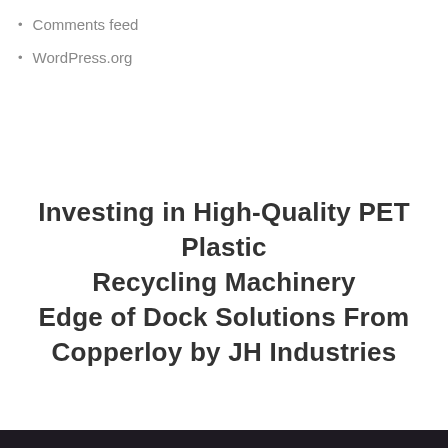Comments feed
WordPress.org
Investing in High-Quality PET Plastic Recycling Machinery Edge of Dock Solutions From Copperloy by JH Industries